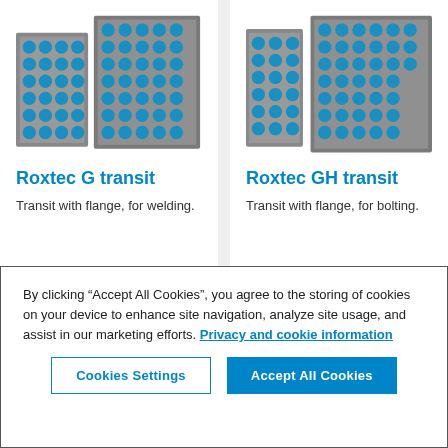[Figure (photo): Roxtec G transit product — a steel frame panel with multiple blue cable transit modules, shown from two slightly different angles side by side.]
Roxtec G transit
Transit with flange, for welding.
[Figure (photo): Roxtec GH transit product — similar steel frame panel with blue cable transit modules, two views shown (partially cropped).]
Roxtec GH transit
Transit with flange, for bolting.
By clicking “Accept All Cookies”, you agree to the storing of cookies on your device to enhance site navigation, analyze site usage, and assist in our marketing efforts. Privacy and cookie information
Cookies Settings
Accept All Cookies